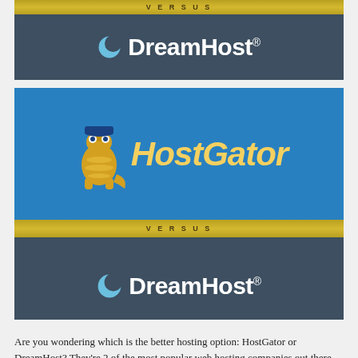[Figure (logo): DreamHost logo on dark blue-grey background with gold VERSUS banner at top]
[Figure (logo): HostGator logo on blue background above a gold VERSUS banner, followed by DreamHost logo on dark blue-grey background]
Are you wondering which is the better hosting option: HostGator or DreamHost? They're 2 of the most popular web hosting companies out there. But one has to be better than the other, right?
In our UNBIASED comparison between HostGator and